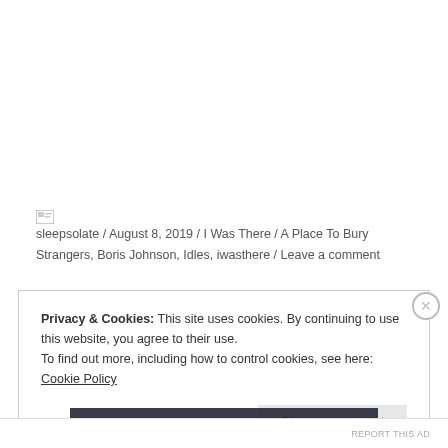sleepsolate / August 8, 2019 / I Was There / A Place To Bury Strangers, Boris Johnson, Idles, iwasthere / Leave a comment
Privacy & Cookies: This site uses cookies. By continuing to use this website, you agree to their use. To find out more, including how to control cookies, see here: Cookie Policy
Close and accept